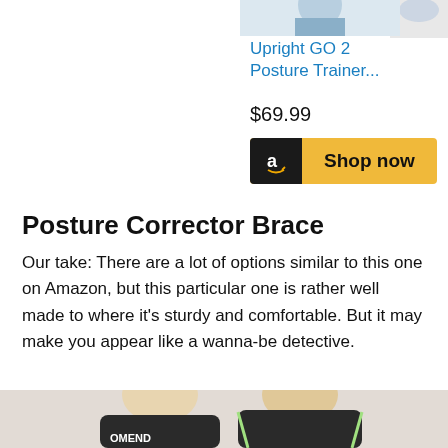[Figure (photo): Product image of Upright GO 2 Posture Trainer, partially cropped at top]
Upright GO 2 Posture Trainer...
$69.99
[Figure (other): Amazon Shop now button with Amazon logo]
Posture Corrector Brace
Our take: There are a lot of options similar to this one on Amazon, but this particular one is rather well made to where it's sturdy and comfortable. But it may make you appear like a wanna-be detective.
[Figure (photo): Two people (woman and man) wearing a black posture corrector brace, partially cropped at bottom. Brand text OMEND visible.]